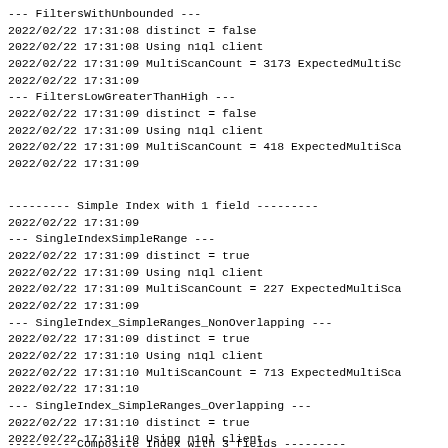--- FiltersWithUnbounded ---
2022/02/22 17:31:08 distinct = false
2022/02/22 17:31:08 Using n1ql client
2022/02/22 17:31:09 MultiScanCount = 3173 ExpectedMultiSc
2022/02/22 17:31:09
--- FiltersLowGreaterThanHigh ---
2022/02/22 17:31:09 distinct = false
2022/02/22 17:31:09 Using n1ql client
2022/02/22 17:31:09 MultiScanCount = 418 ExpectedMultiSca
2022/02/22 17:31:09
--------- Simple Index with 1 field ---------
2022/02/22 17:31:09
--- SingleIndexSimpleRange ---
2022/02/22 17:31:09 distinct = true
2022/02/22 17:31:09 Using n1ql client
2022/02/22 17:31:09 MultiScanCount = 227 ExpectedMultiSca
2022/02/22 17:31:09
--- SingleIndex_SimpleRanges_NonOverlapping ---
2022/02/22 17:31:09 distinct = true
2022/02/22 17:31:10 Using n1ql client
2022/02/22 17:31:10 MultiScanCount = 713 ExpectedMultiSca
2022/02/22 17:31:10
--- SingleIndex_SimpleRanges_Overlapping ---
2022/02/22 17:31:10 distinct = true
2022/02/22 17:31:10 Using n1ql client
2022/02/22 17:31:10 MultiScanCount = 869 ExpectedMultiSca
2022/02/22 17:31:10
--------- Composite Index with 3 fields ---------